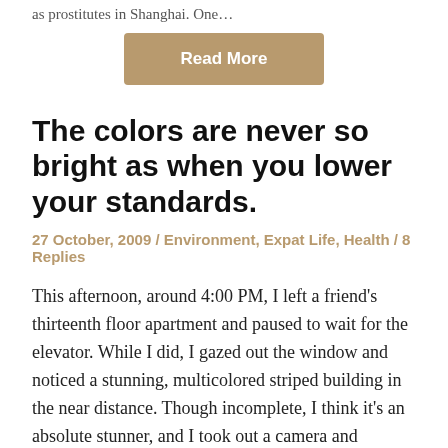as prostitutes in Shanghai. One…
Read More
The colors are never so bright as when you lower your standards.
27 October, 2009 / Environment, Expat Life, Health / 8 Replies
This afternoon, around 4:00 PM, I left a friend's thirteenth floor apartment and paused to wait for the elevator. While I did, I gazed out the window and noticed a stunning, multicolored striped building in the near distance. Though incomplete, I think it's an absolute stunner, and I took out a camera and snapped a…
Read More